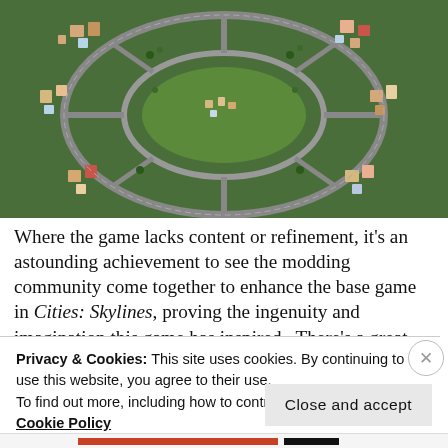[Figure (screenshot): Aerial/isometric view of a city in Cities: Skylines video game, showing roads, buildings, and green spaces]
Where the game lacks content or refinement, it's an astounding achievement to see the modding community come together to enhance the base game in Cities: Skylines, proving the ingenuity and imagination this game has inspired.  There's a great, disparate collection of items that go from enhancing the tools available to the player, giving a new perspective on the game (the FPS camera mod is amazing) and enhancing the game's
Privacy & Cookies: This site uses cookies. By continuing to use this website, you agree to their use.
To find out more, including how to control cookies, see here: Cookie Policy
Close and accept